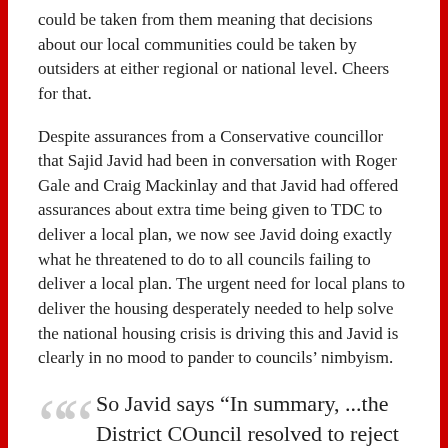could be taken from them meaning that decisions about our local communities could be taken by outsiders at either regional or national level. Cheers for that.
Despite assurances from a Conservative councillor that Sajid Javid had been in conversation with Roger Gale and Craig Mackinlay and that Javid had offered assurances about extra time being given to TDC to deliver a local plan, we now see Javid doing exactly what he threatened to do to all councils failing to deliver a local plan. The urgent need for local plans to deliver the housing desperately needed to help solve the national housing crisis is driving this and Javid is clearly in no mood to pander to councils' nimbyism.
So Javid says “In summary, ...the District COuncil resolved to reject the recommendation of officers to